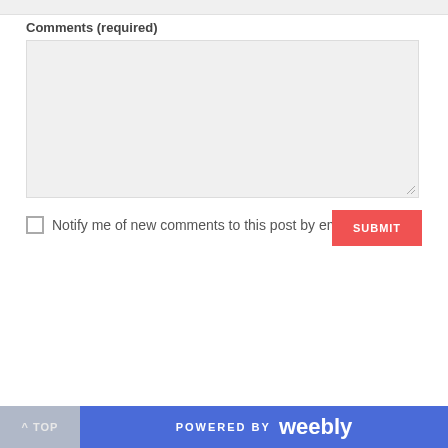Comments (required)
Notify me of new comments to this post by email
SUBMIT
^ TOP    POWERED BY weebly